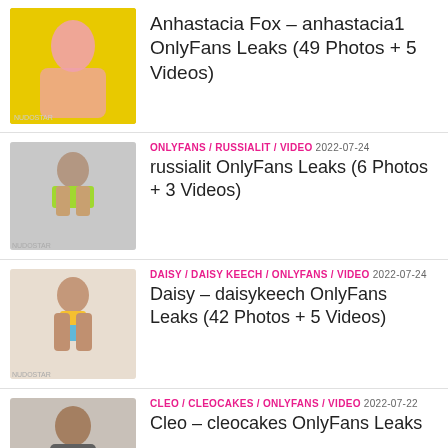Anhastacia Fox – anhastacia1 OnlyFans Leaks (49 Photos + 5 Videos)
ONLYFANS / RUSSIALIT / VIDEO 2022-07-24 russialit OnlyFans Leaks (6 Photos + 3 Videos)
DAISY / DAISY KEECH / ONLYFANS / VIDEO 2022-07-24 Daisy – daisykeech OnlyFans Leaks (42 Photos + 5 Videos)
CLEO / CLEOCAKES / ONLYFANS / VIDEO 2022-07-22 Cleo – cleocakes OnlyFans Leaks